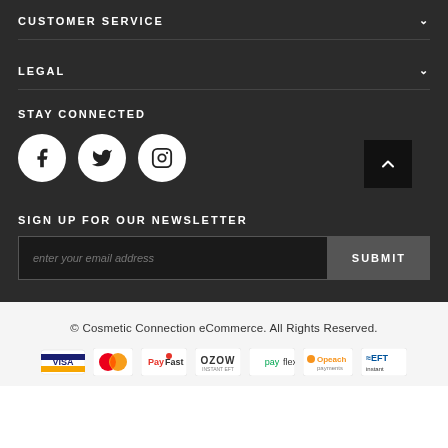CUSTOMER SERVICE
LEGAL
STAY CONNECTED
[Figure (illustration): Three circular social media icons: Facebook (f), Twitter (bird), and Instagram (camera) on white circles against dark background, with a back-to-top arrow button in the bottom right corner]
SIGN UP FOR OUR NEWSLETTER
enter your email address
SUBMIT
© Cosmetic Connection eCommerce. All Rights Reserved.
[Figure (logo): Payment method logos: VISA, MasterCard, PayFast, OZOW, payflex, Opeach payments, EFT instant]